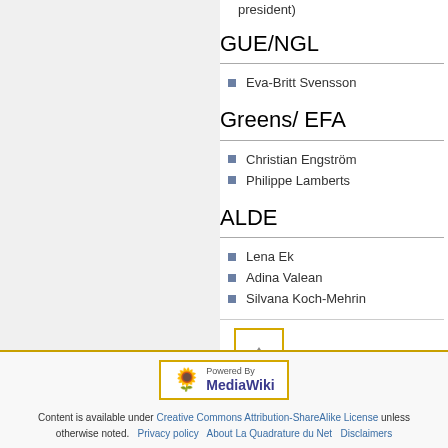president)
GUE/NGL
Eva-Britt Svensson
Greens/ EFA
Christian Engström
Philippe Lamberts
ALDE
Lena Ek
Adina Valean
Silvana Koch-Mehrin
[Figure (other): Scroll to top button with upward triangle arrow, orange/gold border]
Powered By MediaWiki. Content is available under Creative Commons Attribution-ShareAlike License unless otherwise noted. Privacy policy   About La Quadrature du Net   Disclaimers